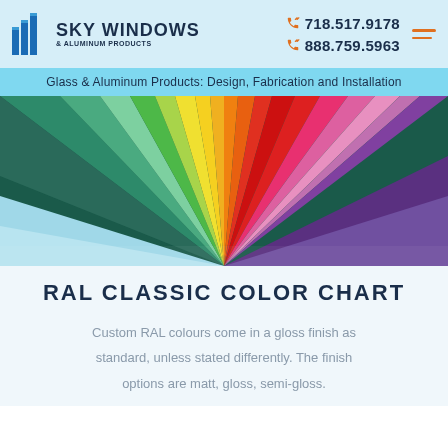SKY WINDOWS & ALUMINUM PRODUCTS | 718.517.9178 | 888.759.5963
Glass & Aluminum Products: Design, Fabrication and Installation
[Figure (photo): Rainbow color wheel fan of paper sheets radiating from center point, showing full spectrum of colors from teal/green through yellow, orange, red, pink, and purple on a white/light background]
RAL CLASSIC COLOR CHART
Custom RAL colours come in a gloss finish as standard, unless stated differently. The finish options are matt, gloss, semi-gloss.